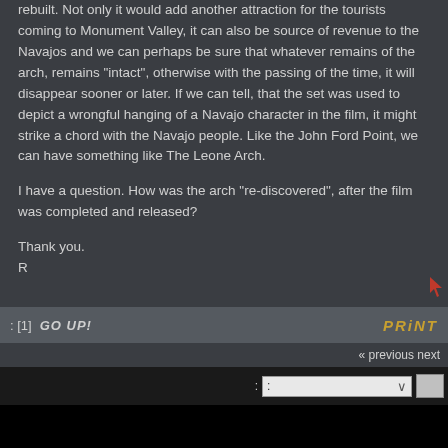rebuilt. Not only it would add another attraction for the tourists coming to Monument Valley, it can also be source of revenue to the Navajos and we can perhaps be sure that whatever remains of the arch, remains "intact", otherwise with the passing of the time, it will disappear sooner or later. If we can tell, that the set was used to depict a wrongful hanging of a Navajo character in the film, it might strike a chord with the Navajo people. Like the John Ford Point, we can have something like The Leone Arch.
I have a question. How was the arch "re-discovered", after the film was completed and released?
Thank you.
R
: [1]  GO UP!
PRINT
« previous next
Visit FISTFUL-OF-LEONE.COM
SMF 2.0.15 | SMF © 2017, Simple Machines     0.09198